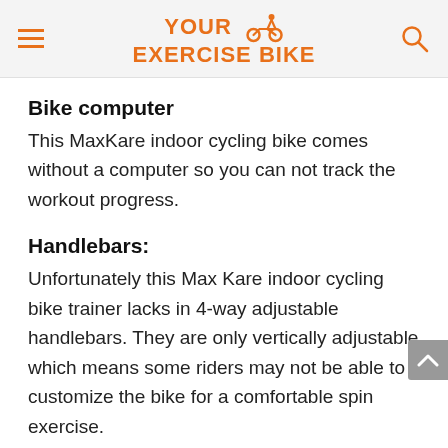YOUR EXERCISE BIKE
Bike computer
This MaxKare indoor cycling bike comes without a computer so you can not track the workout progress.
Handlebars:
Unfortunately this Max Kare indoor cycling bike trainer lacks in 4-way adjustable handlebars. They are only vertically adjustable which means some riders may not be able to customize the bike for a comfortable spin exercise.
No SPD elements on the pedals.